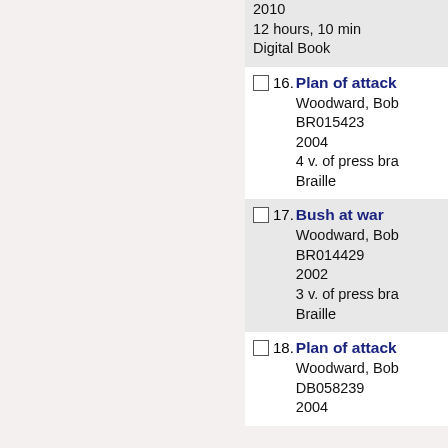2010
12 hours, 10 min
Digital Book
16. Plan of attack
Woodward, Bob
BR015423
2004
4 v. of press bra
Braille
17. Bush at war
Woodward, Bob
BR014429
2002
3 v. of press bra
Braille
18. Plan of attack
Woodward, Bob
DB058239
2004